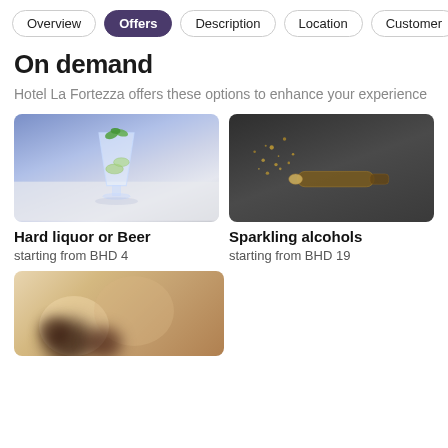Overview | Offers | Description | Location | Customer
On demand
Hotel La Fortezza offers these options to enhance your experience
[Figure (photo): A tall glass cocktail with cucumber, mint garnish on a blue/white background]
Hard liquor or Beer
starting from BHD 4
[Figure (photo): A champagne bottle with cork and confetti on a dark background]
Sparkling alcohols
starting from BHD 19
[Figure (photo): Blurry close-up image on a warm beige/tan background with dark circular shapes]